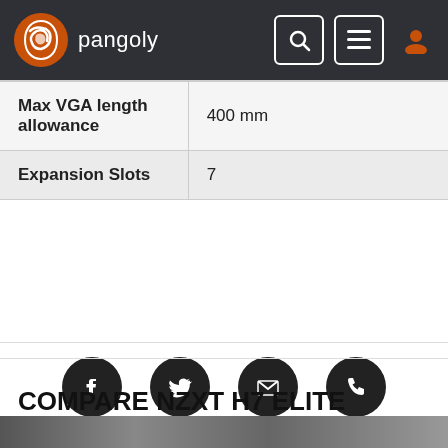pangoly
| Max VGA length allowance | 400 mm |
| Expansion Slots | 7 |
[Figure (other): Social media icons: Facebook, Twitter, Email, Phone]
COMPARE NZXT H7 ELITE WITH SIMILAR CASES
[Figure (photo): Bottom image strip showing PC cases]